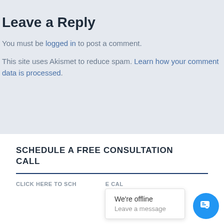Leave a Reply
You must be logged in to post a comment.
This site uses Akismet to reduce spam. Learn how your comment data is processed.
SCHEDULE A FREE CONSULTATION CALL
CLICK HERE TO SCHEDULE YOUR FREE 30 MINUTE CALL
[Figure (screenshot): Chat popup with 'We're offline' and 'Leave a message' text, and a blue circular chat button with speech bubble icon]